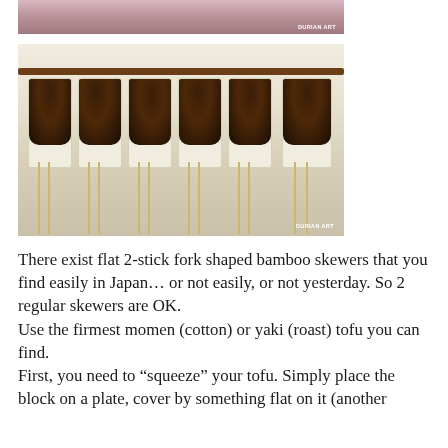[Figure (photo): Partial top photo showing hands or tofu preparation with DURIAN ART watermark]
[Figure (photo): Photo of six tofu skewers with dark miso glaze on bamboo sticks arranged on a rack, with DURIAN ART watermark]
There exist flat 2-stick fork shaped bamboo skewers that you find easily in Japan… or not easily, or not yesterday. So 2 regular skewers are OK.
Use the firmest momen (cotton) or yaki (roast) tofu you can find.
First, you need to “squeeze” your tofu. Simply place the block on a plate, cover by something flat on it (another plate, a cutting board) and something heavy on top.